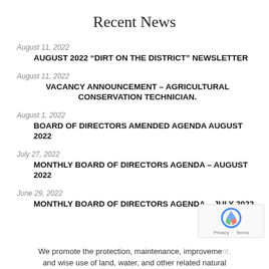Recent News
August 11, 2022
AUGUST 2022 “DIRT ON THE DISTRICT” NEWSLETTER
August 11, 2022
VACANCY ANNOUNCEMENT – AGRICULTURAL CONSERVATION TECHNICIAN.
August 1, 2022
BOARD OF DIRECTORS AMENDED AGENDA AUGUST 2022
July 27, 2022
MONTHLY BOARD OF DIRECTORS AGENDA – AUGUST 2022
June 29, 2022
MONTHLY BOARD OF DIRECTORS AGENDA – JULY 2022
We promote the protection, maintenance, improvement, and wise use of land, water, and other related natural